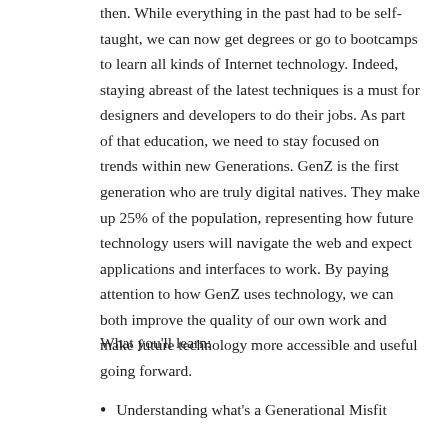then. While everything in the past had to be self-taught, we can now get degrees or go to bootcamps to learn all kinds of Internet technology. Indeed, staying abreast of the latest techniques is a must for designers and developers to do their jobs. As part of that education, we need to stay focused on trends within new Generations. GenZ is the first generation who are truly digital natives. They make up 25% of the population, representing how future technology users will navigate the web and expect applications and interfaces to work. By paying attention to how GenZ uses technology, we can both improve the quality of our own work and make future technology more accessible and useful going forward.
What you'll learn:
Understanding what's a Generational Misfit